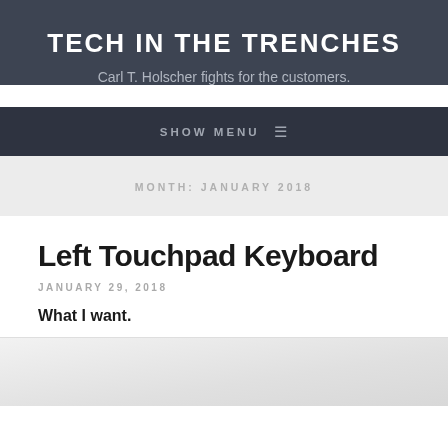TECH IN THE TRENCHES
Carl T. Holscher fights for the customers.
SHOW MENU
MONTH: JANUARY 2018
Left Touchpad Keyboard
JANUARY 29, 2018
What I want.
[Figure (photo): Image of a left touchpad keyboard device, partially visible at the bottom of the page]